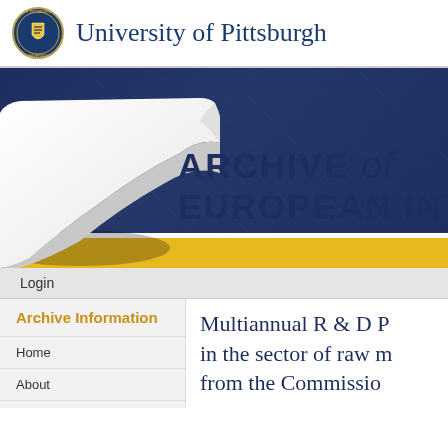[Figure (logo): University of Pittsburgh circular seal/crest in gold and navy]
University of Pittsburgh
[Figure (illustration): Dark navy banner with page-curl effect in lower left, yellow strip, and white strip. Banner contains the text ARCHIVE of EUROPEAN INTE in large dark navy bold letters.]
ARCHIVE of EUROPEAN INTE
Login
Archive Information
Home
About
Multiannual R & D P in the sector of raw m from the Commissio